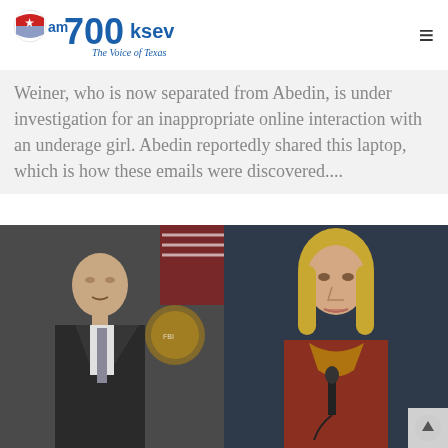am700ksev The Voice of Texas
Weiner, who is now separated from Abedin, is under investigation for an inappropriate online interaction with an underage girl. Abedin reportedly shared this laptop, which is how these emails were discovered....
[Figure (photo): Two side-by-side photos: left shows a man in a dark suit speaking at a podium with an FBI seal in the background; right shows a woman with blonde hair in a red jacket speaking at a microphone.]